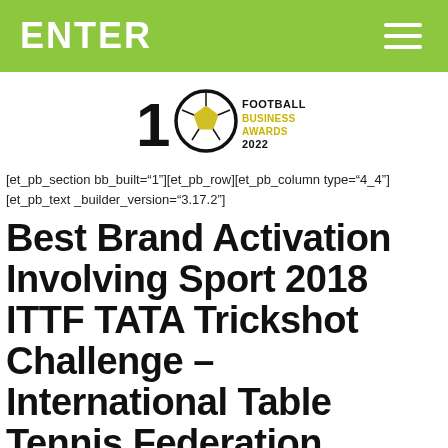ENTER
[Figure (logo): Football Business Awards 2022 logo with a soccer ball and the number 10]
[et_pb_section bb_built="1"][et_pb_row][et_pb_column type="4_4"][et_pb_text _builder_version="3.17.2"]
Best Brand Activation Involving Sport 2018 ITTF TATA Trickshot Challenge – International Table Tennis Federation